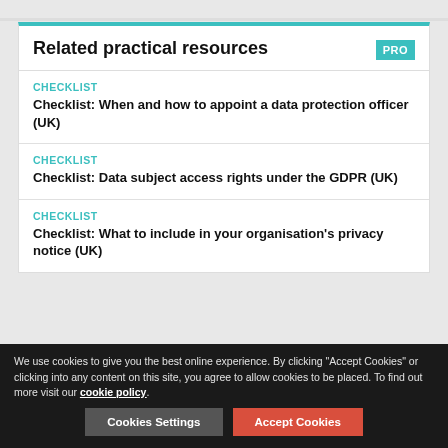Related practical resources
CHECKLIST
Checklist: When and how to appoint a data protection officer (UK)
CHECKLIST
Checklist: Data subject access rights under the GDPR (UK)
CHECKLIST
Checklist: What to include in your organisation's privacy notice (UK)
We use cookies to give you the best online experience. By clicking "Accept Cookies" or clicking into any content on this site, you agree to allow cookies to be placed. To find out more visit our cookie policy